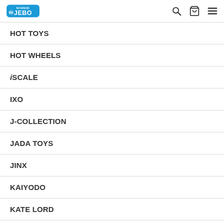JEBO logo with search, cart, and menu icons
HOT TOYS
HOT WHEELS
iSCALE
IXO
J-COLLECTION
JADA TOYS
JINX
KAIYODO
KATE LORD
KOTOBUKIYA